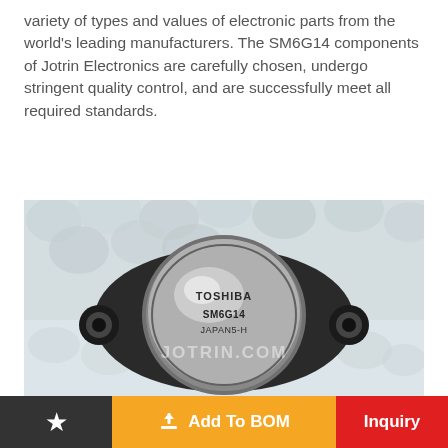variety of types and values of electronic parts from the world's leading manufacturers. The SM6G14 components of Jotrin Electronics are carefully chosen, undergo stringent quality control, and are successfully meet all required standards.
[Figure (photo): Close-up photo of a Toshiba SM6G14 electronic component (transistor in TO-3 metal case) on a white foam surface. The component has a round metal cap with 'TOSHIBA', 'SM6G14', and 'JAPAN5-H' inscribed on it. A watermark reading 'JOTRIN.COM' is overlaid on the image.]
Add To BOM
Inquiry